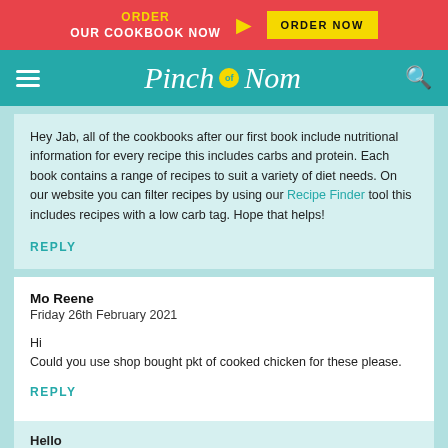ORDER OUR COOKBOOK NOW — ORDER NOW
Pinch of Nom
Hey Jab, all of the cookbooks after our first book include nutritional information for every recipe this includes carbs and protein. Each book contains a range of recipes to suit a variety of diet needs. On our website you can filter recipes by using our Recipe Finder tool this includes recipes with a low carb tag. Hope that helps!
REPLY
Mo Reene
Friday 26th February 2021

Hi
Could you use shop bought pkt of cooked chicken for these please.
REPLY
Hello